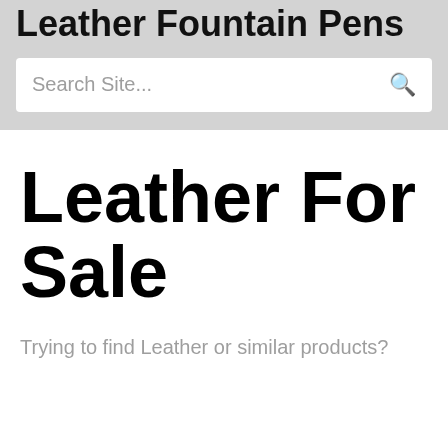Leather Fountain Pens
Leather For Sale
Trying to find Leather or similar products?